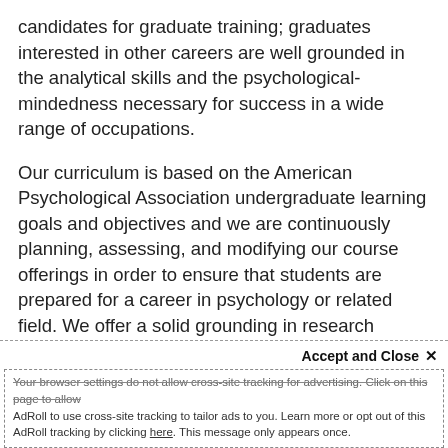candidates for graduate training; graduates interested in other careers are well grounded in the analytical skills and the psychological-mindedness necessary for success in a wide range of occupations.
Our curriculum is based on the American Psychological Association undergraduate learning goals and objectives and we are continuously planning, assessing, and modifying our course offerings in order to ensure that students are prepared for a career in psychology or related field. We offer a solid grounding in research methodology as well as basic and advanced courses in major subfields of the discipline (behavioral neuroscience, cognitive psychology, developmental psychology, and social psychology). We also offer many special topics courses such as Abnormal Psychology,
Accept and Close ×
Your browser settings do not allow cross-site tracking for advertising. Click on this page to allow AdRoll to use cross-site tracking to tailor ads to you. Learn more or opt out of this AdRoll tracking by clicking here. This message only appears once.